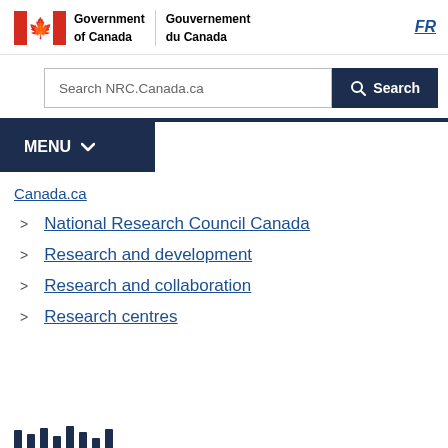[Figure (logo): Government of Canada / Gouvernement du Canada logo with Canadian flag, bilingual text, and FR language toggle link]
[Figure (screenshot): Search bar with text 'Search NRC.Canada.ca' and dark Search button]
[Figure (screenshot): Dark navy MENU button with dropdown chevron]
Canada.ca
National Research Council Canada
Research and development
Research and collaboration
Research centres